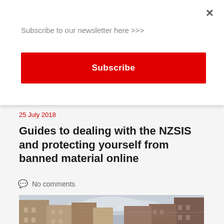Subscribe to our newsletter here >>>
Subscribe
25 July 2018
Guides to dealing with the NZSIS and protecting yourself from banned material online
No comments
[Figure (photo): Street-level photograph of a busy European city street flanked by multi-storey stone and brick buildings, with pedestrians on the sidewalks and an overcast sky.]